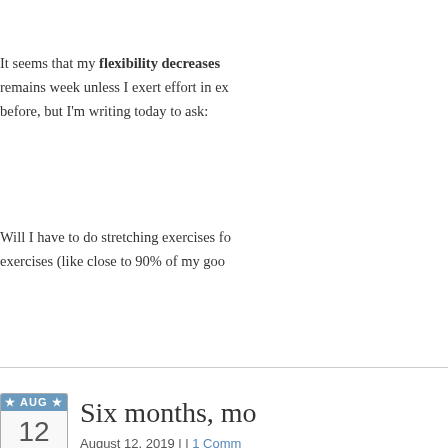It seems that my flexibility decreases remains week unless I exert effort in ex before, but I'm writing today to ask:
Will I have to do stretching exercises fo exercises (like close to 90% of my goo
[Figure (other): Calendar icon showing AUG 12]
Six months, mo
August 12, 2019 | | 1 Comm
I saw my doctor, last check up. Everyth some lack of flexibility. However, I'm ab playing Pickleball.
However, it has become obvious that I such as walking on my toes, or my leg was a month ago!!
I had really slacked off of PT, and it see weeks!